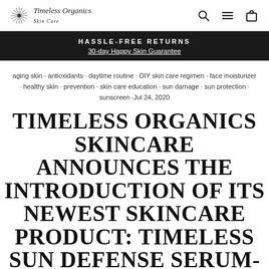Timeless Organics Skin Care
HASSLE-FREE RETURNS
30-day Happy Skin Guarantee
aging skin · antioxidants · daytime routine · DIY skin care regimen · face moisturizer · healthy skin · prevention · skin care education · sun damage · sun protection · sunscreen ·Jul 24, 2020
TIMELESS ORGANICS SKINCARE ANNOUNCES THE INTRODUCTION OF ITS NEWEST SKINCARE PRODUCT: TIMELESS SUN DEFENSE SERUM-SPF30